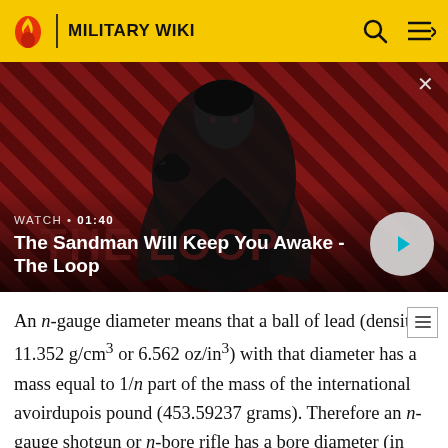MILITARY WIKI
[Figure (screenshot): Video thumbnail showing a dark-cloaked figure with a raven on their shoulder against a red and black diagonal striped background. Overlaid text shows 'WATCH • 01:40' and title 'The Sandman Will Keep You Awake - The Loop' with a play button.]
An n-gauge diameter means that a ball of lead (density 11.352 g/cm³ or 6.562 oz/in³) with that diameter has a mass equal to 1/n part of the mass of the international avoirdupois pound (453.59237 grams). Therefore an n-gauge shotgun or n-bore rifle has a bore diameter (in